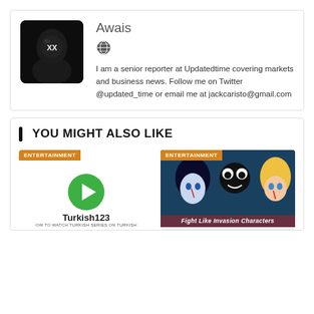[Figure (photo): Author profile photo showing a person in a hooded outfit with an anonymous mask with XX eyes, dark background]
Awais
[Figure (other): Globe/website icon]
I am a senior reporter at Updatedtime covering markets and business news. Follow me on Twitter @updated_time or email me at jackcaristo@gmail.com
YOU MIGHT ALSO LIKE
[Figure (other): Entertainment card showing Turkish123 logo with green play button circle, ENTERTAINMENT tag, and text HOW TO WATCH TURKISH SERIES ON TURKISH123]
[Figure (other): Entertainment card showing anime characters with text Fight Like Invasion Characters, ENTERTAINMENT tag]